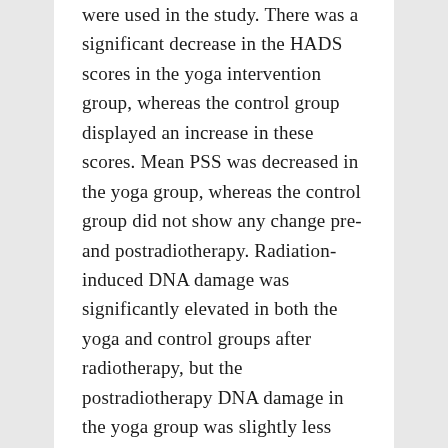were used in the study. There was a significant decrease in the HADS scores in the yoga intervention group, whereas the control group displayed an increase in these scores. Mean PSS was decreased in the yoga group, whereas the control group did not show any change pre- and postradiotherapy. Radiation-induced DNA damage was significantly elevated in both the yoga and control groups after radiotherapy, but the postradiotherapy DNA damage in the yoga group was slightly less when compared to the control group. An integrated approach of yoga intervention modulates the stress and DNA damage levels in breast cancer